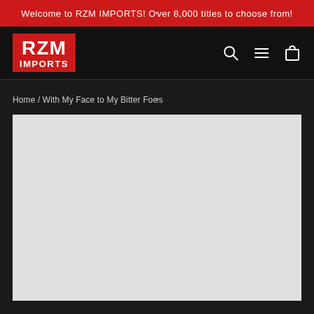Welcome to RZM IMPORTS! Over 8,000 titles to choose from!
[Figure (logo): RZM IMPORTS logo — red background with white bold text RZM on top and IMPORTS below]
Home / With My Face to My Bitter Foes
[Figure (photo): Large light gray product image placeholder area]